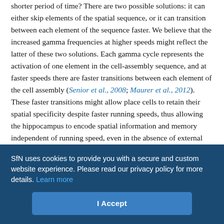shorter period of time? There are two possible solutions: it can either skip elements of the spatial sequence, or it can transition between each element of the sequence faster. We believe that the increased gamma frequencies at higher speeds might reflect the latter of these two solutions. Each gamma cycle represents the activation of one element in the cell-assembly sequence, and at faster speeds there are faster transitions between each element of the cell assembly (Senior et al., 2008; Maurer et al., 2012). These faster transitions might allow place cells to retain their spatial specificity despite faster running speeds, thus allowing the hippocampus to encode spatial information and memory independent of running speed, even in the absence of external cues.

Traub et al. (1996) observed a linear increase in gamma frequency
SfN uses cookies to provide you with a secure and custom website experience. Please read our privacy policy for more details. Learn more